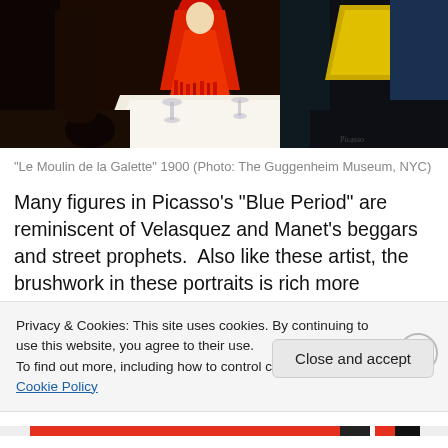[Figure (photo): Painting depicting a dimly lit café/dance hall scene with figures in colorful costumes, a white tablecloth with glassware, dark background – 'Le Moulin de la Galette' by Picasso, 1900.]
“Le Moulin de la Galette” 1900 (Photo: The Guggenheim Museum, NYC)
Many figures in Picasso’s “Blue Period” are reminiscent of Velasquez and Manet’s beggars and street prophets.  Also like these artist, the brushwork in these portraits is rich more realistic.  There is evidence in the “Old Guitarist” that
Privacy & Cookies: This site uses cookies. By continuing to use this website, you agree to their use.
To find out more, including how to control cookies, see here: Cookie Policy
Close and accept